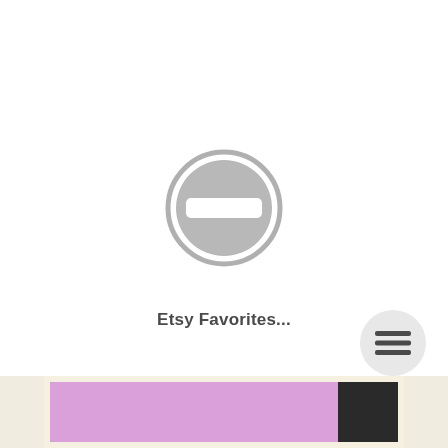[Figure (illustration): A gray no-entry / minus circle icon (a circle with a horizontal bar/rectangle inside), centered in the upper portion of the page]
Etsy Favorites...
[Figure (illustration): A round light gray button with three horizontal lines (hamburger/menu icon), positioned at the bottom right]
[Figure (photo): Bottom strip showing a framed image with a pink/lavender background and a dark figure on the right edge, partially cropped]